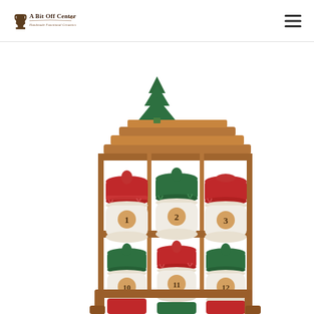A Bit Off Center - Handmade Functional Ceramics
[Figure (photo): A wooden advent calendar shelf with a green ceramic Christmas tree on top, holding small ceramic jars with red and green lids numbered 1, 2, 3 in the top row and 10, 11, 12 in the second visible row, with more jars partially visible in the bottom row.]